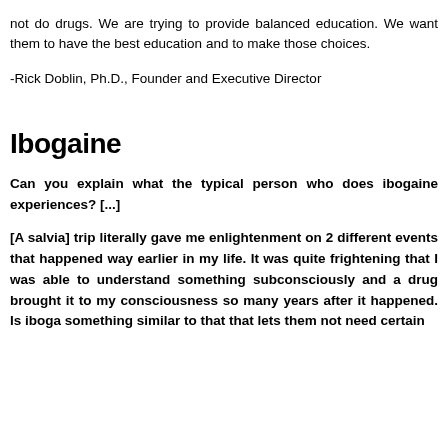not do drugs. We are trying to provide balanced education. We want them to have the best education and to make those choices.
-Rick Doblin, Ph.D., Founder and Executive Director
Ibogaine
Can you explain what the typical person who does ibogaine experiences? [...]
[A salvia] trip literally gave me enlightenment on 2 different events that happened way earlier in my life. It was quite frightening that I was able to understand something subconsciously and a drug brought it to my consciousness so many years after it happened. Is iboga something similar to that that lets them not need certain